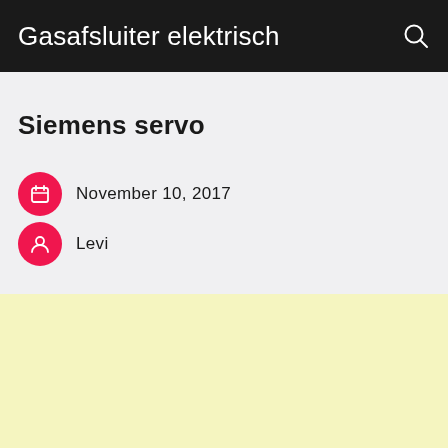Gasafsluiter elektrisch
Siemens servo
November 10, 2017
Levi